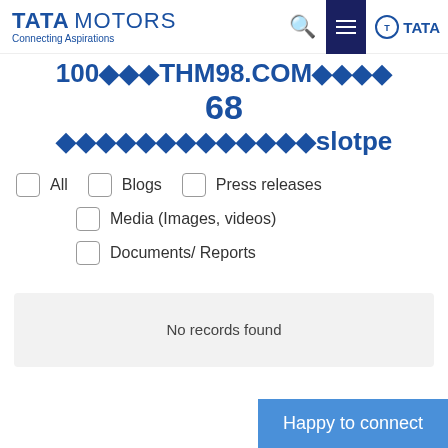[Figure (logo): Tata Motors logo with 'Connecting Aspirations' tagline and Tata group logo on the right, with search and menu icons]
100◆◆◆THM98.COM◆◆◆
68
◆◆◆◆◆◆◆◆◆◆◆◆◆slotpe
All
Blogs
Press releases
Media (Images, videos)
Documents/ Reports
No records found
Happy to connect